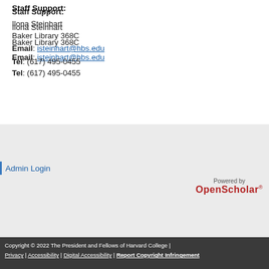Staff Support:
Ilona Steinhart
Baker Library 368C
Email: isteinhart@hbs.edu
Tel: (617) 495-0455
Admin Login
[Figure (logo): Powered by OpenScholar® logo]
Copyright © 2022 The President and Fellows of Harvard College | Privacy | Accessibility | Digital Accessibility | Report Copyright Infringement